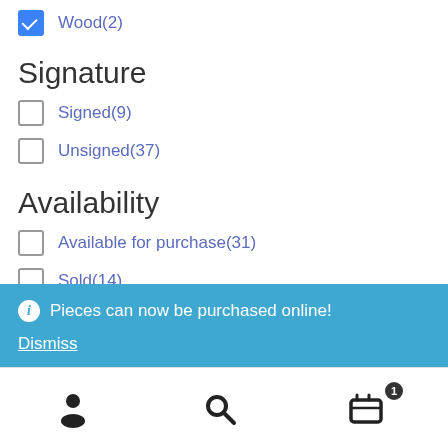Wood(2)
Signature
Signed(9)
Unsigned(37)
Availability
Available for purchase(31)
Sold(14)
Not for sale(1)
Pieces can now be purchased online!
Dismiss